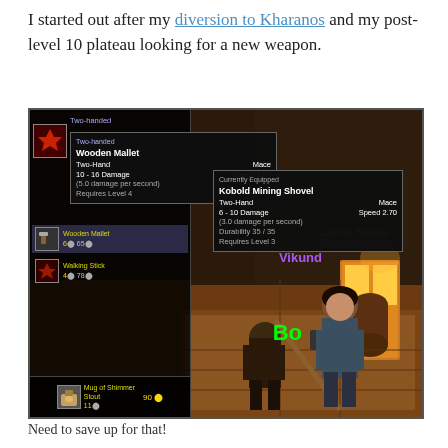I started out after my diversion to Kharanos and my post-level 10 plateau looking for a new weapon.
[Figure (screenshot): World of Warcraft screenshot showing a merchant interface with Wooden Mallet tooltip and Currently Equipped Kobold Mining Shovel tooltip. NPCs named Corina Steele <Weaponsmith>, Vikund, and Bo are visible in a forge/smith shop environment.]
Need to save up for that!